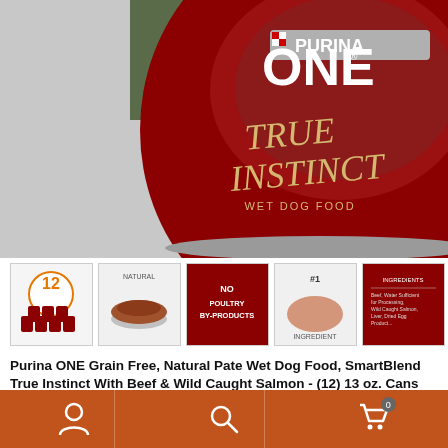[Figure (photo): Close-up of Purina ONE True Instinct Wet Dog Food can label showing red circular logo with 'PURINA ONE' checkered logo, 'TRUE INSTINCT' text in gold/tan letters, and 'WET DOG FOOD' text below, with a dog image in the background]
[Figure (photo): Five product thumbnail images showing: (1) 12-pack of cans, (2) natural ingredients bowl, (3) No Poultry By-Products label, (4) #1 ingredient image with salmon, (5) Ingredients list]
Purina ONE Grain Free, Natural Pate Wet Dog Food, SmartBlend True Instinct With Beef & Wild Caught Salmon - (12) 13 oz. Cans
★★★★½ (24281) $45.89 ($4.71 / lb) (as of August 24, 2022 12:26 GMT -04:00 - More info) Twelve (12) 13 Oz. Cans – Purina One Smart Blend True Instinct Natural
Navigation bar with account, search, and cart (0) icons